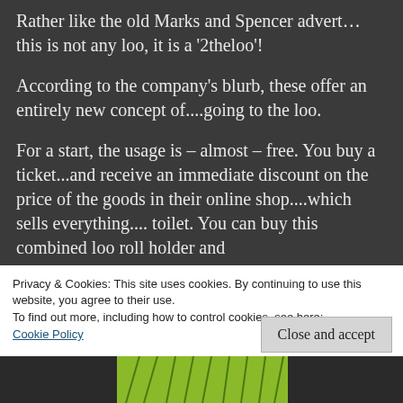Rather like the old Marks and Spencer advert... this is not any loo, it is a '2theloo'!
According to the company's blurb, these offer an entirely new concept of....going to the loo.
For a start, the usage is – almost – free. You buy a ticket...and receive an immediate discount on the price of the goods in their online shop....which sells everything.... toilet. You can buy this combined loo roll holder and
Privacy & Cookies: This site uses cookies. By continuing to use this website, you agree to their use.
To find out more, including how to control cookies, see here:
Cookie Policy
Close and accept
[Figure (photo): Bottom strip showing partial image with yellow-green color at base of page]